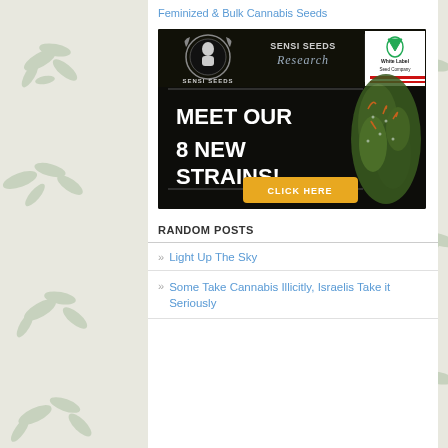Feminized & Bulk Cannabis Seeds
[Figure (photo): Sensi Seeds Research advertisement banner featuring cannabis plant, logos for Sensi Seeds Research and White Label Seed Company, text MEET OUR 8 NEW STRAINS! and a yellow CLICK HERE button]
RANDOM POSTS
Light Up The Sky
Some Take Cannabis Illicitly, Israelis Take it Seriously